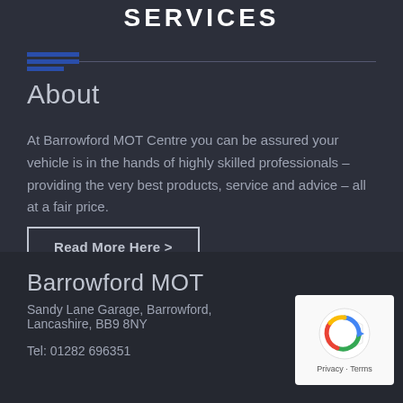SERVICES
About
At Barrowford MOT Centre you can be assured your vehicle is in the hands of highly skilled professionals – providing the very best products, service and advice – all at a fair price.
Read More Here >
Barrowford MOT
Sandy Lane Garage, Barrowford, Lancashire, BB9 8NY
Tel: 01282 696351